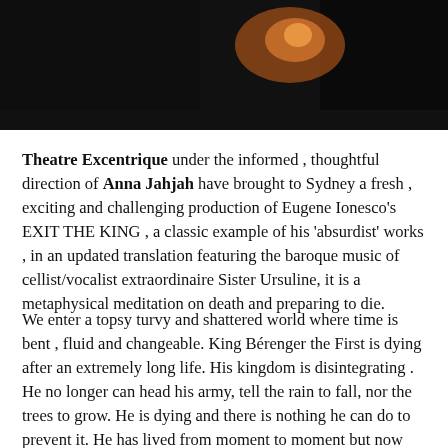[Figure (photo): Dark dramatic theatre photo showing a performer on stage with warm orange/amber lighting glow against a very dark background]
Theatre Excentrique under the informed , thoughtful direction of Anna Jahjah have brought to Sydney a fresh , exciting and challenging production of Eugene Ionesco's EXIT THE KING , a classic example of his 'absurdist' works , in an updated translation featuring the baroque music of cellist/vocalist extraordinaire Sister Ursuline, it is a metaphysical meditation on death and preparing to die.
We enter a topsy turvy and shattered world where time is bent , fluid and changeable. King Bérenger the First is dying after an extremely long life. His kingdom is disintegrating . He no longer can head his army, tell the rain to fall, nor the trees to grow. He is dying and there is nothing he can do to prevent it. He has lived from moment to moment but now there is no more time .His first wife, Queen Marguerite , is obsessively keeping track